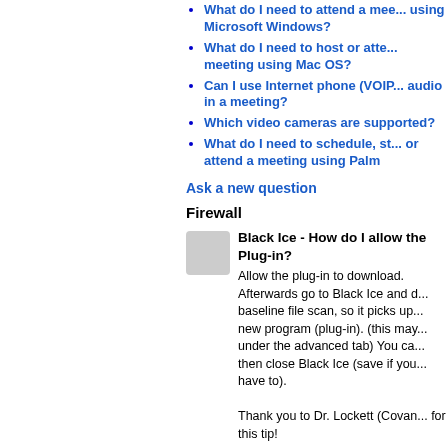What do I need to attend a meeting using Microsoft Windows?
What do I need to host or attend a meeting using Mac OS?
Can I use Internet phone (VOIP) audio in a meeting?
Which video cameras are supported?
What do I need to schedule, start, or attend a meeting using Palm
Ask a new question
Firewall
Black Ice - How do I allow the Plug-in?
Allow the plug-in to download. Afterwards go to Black Ice and do a baseline file scan, so it picks up the new program (plug-in). (this may be under the advanced tab) You can then close Black Ice (save if you have to).
Thank you to Dr. Lockett (Covant) for this tip!
Top
MEDPresent
Do I Need to "Set up" my browser if I'm going right into a meeting?
No. If your going right into a meeting your browser will automatically set itself up. Set up will take time (that's why we recommend you do it before you get to the meeting). Usally it takes about 3-5 min for a 56K connection. Be patient, once it c